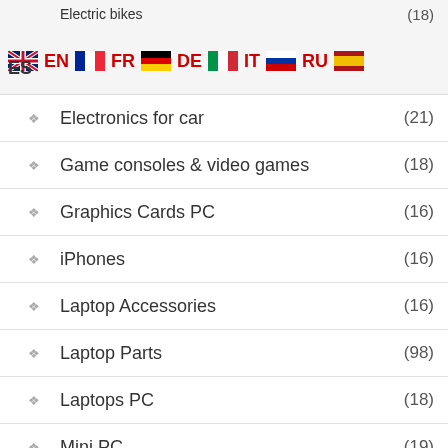Electric bikes (18) EN FR DE IT RU ES
Electronics for car (21)
Game consoles & video games (18)
Graphics Cards PC (16)
iPhones (16)
Laptop Accessories (16)
Laptop Parts (98)
Laptops PC (18)
Mini PC (19)
Mining equipment (19)
Mobile Phone Parts (
Mobile phones (22)